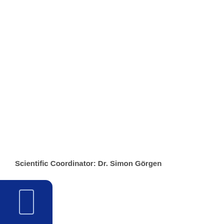Scientific Coordinator: Dr. Simon Görgen
[Figure (logo): Dark blue rounded rectangle badge in the bottom-left corner containing a small white outlined rectangle/book icon]